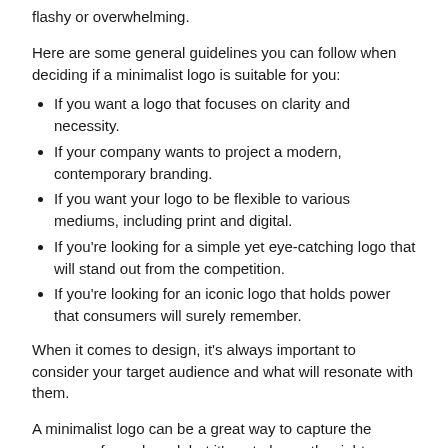flashy or overwhelming.
Here are some general guidelines you can follow when deciding if a minimalist logo is suitable for you:
If you want a logo that focuses on clarity and necessity.
If your company wants to project a modern, contemporary branding.
If you want your logo to be flexible to various mediums, including print and digital.
If you're looking for a simple yet eye-catching logo that will stand out from the competition.
If you're looking for an iconic logo that holds power that consumers will surely remember.
When it comes to design, it's always important to consider your target audience and what will resonate with them.
A minimalist logo can be a great way to capture the essence of your brand, but it's not always the right solution.